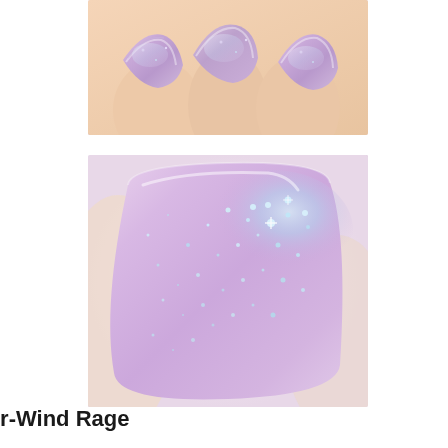[Figure (photo): Close-up photo of fingers/nails painted with a shimmery lavender-pink holographic nail polish, showing multiple nails]
[Figure (photo): Extreme close-up macro photo of a single nail painted with a holographic glitter lavender-pink nail polish showing iridescent shimmer and sparkle]
Treo Lacquer-Wind Rage